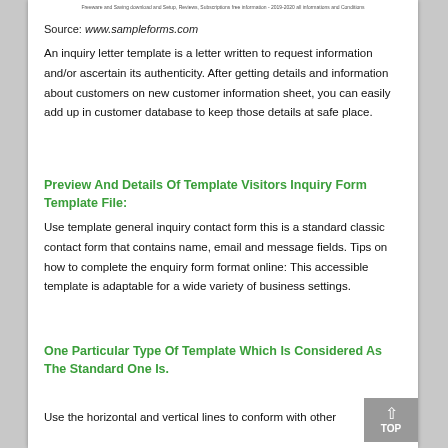Freeware and Saving download and Setup, Reviews, Subscriptions free information - 2019-2020 all informations and Conditions
Source: www.sampleforms.com
An inquiry letter template is a letter written to request information and/or ascertain its authenticity. After getting details and information about customers on new customer information sheet, you can easily add up in customer database to keep those details at safe place.
Preview And Details Of Template Visitors Inquiry Form Template File:
Use template general inquiry contact form this is a standard classic contact form that contains name, email and message fields. Tips on how to complete the enquiry form format online: This accessible template is adaptable for a wide variety of business settings.
One Particular Type Of Template Which Is Considered As The Standard One Is.
Use the horizontal and vertical lines to conform with other